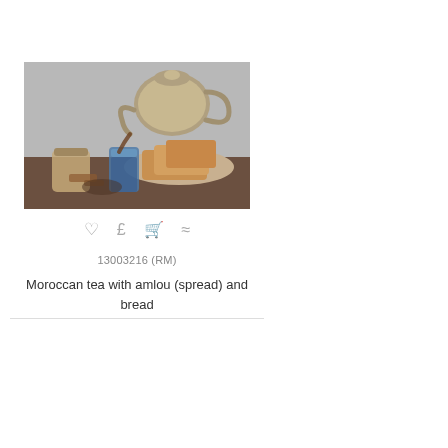[Figure (photo): Moroccan tea being poured from an ornate silver teapot into a blue glass, with bread on a plate and a jar of amlou spread on a wooden surface.]
♡  £  🛒  ≈
13003216 (RM)
Moroccan tea with amlou (spread) and bread